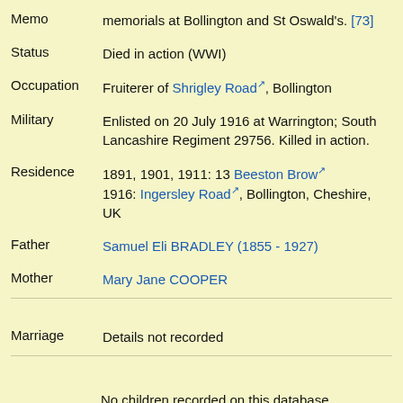Memo: memorials at Bollington and St Oswald's. [73]
Status: Died in action (WWI)
Occupation: Fruiterer of Shrigley Road, Bollington
Military: Enlisted on 20 July 1916 at Warrington; South Lancashire Regiment 29756. Killed in action.
Residence: 1891, 1901, 1911: 13 Beeston Brow
1916: Ingersley Road, Bollington, Cheshire, UK
Father: Samuel Eli BRADLEY (1855 - 1927)
Mother: Mary Jane COOPER
Marriage: Details not recorded
No children recorded on this database